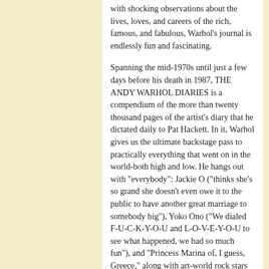with shocking observations about the lives, loves, and careers of the rich, famous, and fabulous, Warhol's journal is endlessly fun and fascinating.
Spanning the mid-1970s until just a few days before his death in 1987, THE ANDY WARHOL DIARIES is a compendium of the more than twenty thousand pages of the artist's diary that he dictated daily to Pat Hackett. In it, Warhol gives us the ultimate backstage pass to practically everything that went on in the world-both high and low. He hangs out with "everybody": Jackie O ("thinks she's so grand she doesn't even owe it to the public to have another great marriage to somebody big"), Yoko Ono ("We dialed F-U-C-K-Y-O-U and L-O-V-E-Y-O-U to see what happened, we had so much fun"), and "Princess Marina of, I guess, Greece," along with art-world rock stars Jean-Michel Basquiat, Francis Bacon, Salvador Dali, and Keith Haring.
Warhol had something to say about everyone who crossed his path, whether it was Lou Reed or Liberace, Patti Smith or Diana Ross, Frank Sinatra or Michael Jackson. A true cultural artifact, THE ANDY WARHOL DIARIES amounts to a portrait of an artist-and an era-unlike any other.